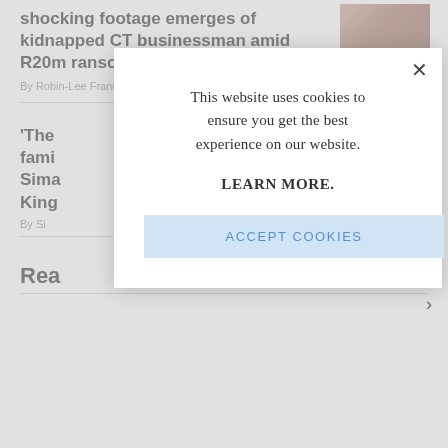shocking footage emerges of kidnapped CT businessman amid R20m ransom demand
By Robin-Lee Francke | Published 3h ago
[Figure (photo): Thumbnail photo of a person, partially visible in upper right corner]
'The fami Sima King
By Si
Rea
This website uses cookies to ensure you get the best experience on our website.
LEARN MORE.
ACCEPT COOKIES